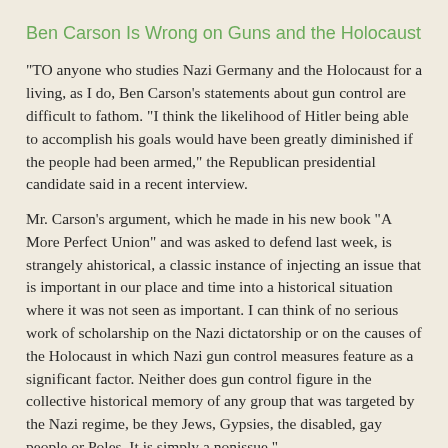Ben Carson Is Wrong on Guns and the Holocaust
"TO anyone who studies Nazi Germany and the Holocaust for a living, as I do, Ben Carson’s statements about gun control are difficult to fathom. “I think the likelihood of Hitler being able to accomplish his goals would have been greatly diminished if the people had been armed,” the Republican presidential candidate said in a recent interview.
Mr. Carson’s argument, which he made in his new book “A More Perfect Union” and was asked to defend last week, is strangely ahistorical, a classic instance of injecting an issue that is important in our place and time into a historical situation where it was not seen as important. I can think of no serious work of scholarship on the Nazi dictatorship or on the causes of the Holocaust in which Nazi gun control measures feature as a significant factor. Neither does gun control figure in the collective historical memory of any group that was targeted by the Nazi regime, be they Jews, Gypsies, the disabled, gay people or Poles. It is simply a nonissue."